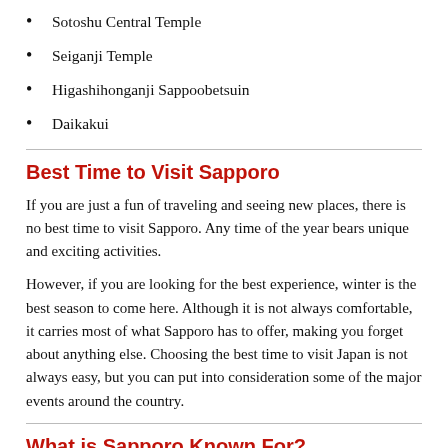Sotoshu Central Temple
Seiganji Temple
Higashihonganji Sappoobetsuin
Daikakui
Best Time to Visit Sapporo
If you are just a fun of traveling and seeing new places, there is no best time to visit Sapporo. Any time of the year bears unique and exciting activities.
However, if you are looking for the best experience, winter is the best season to come here. Although it is not always comfortable, it carries most of what Sapporo has to offer, making you forget about anything else. Choosing the best time to visit Japan is not always easy, but you can put into consideration some of the major events around the country.
What is Sapporo Known For?
The first thing many people notice coming to Sapporo is the beer museum. As such, the city is best known for its eponymous beer. Apart from that, this